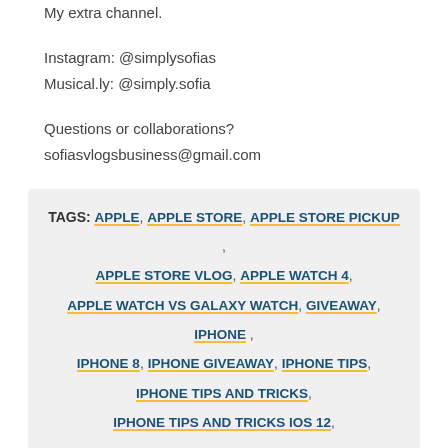My extra channel.
Instagram: @simplysofias
Musical.ly: @simply.sofia
Questions or collaborations?
sofiasvlogsbusiness@gmail.com
TAGS: APPLE, APPLE STORE, APPLE STORE PICKUP, APPLE STORE VLOG, APPLE WATCH 4, APPLE WATCH VS GALAXY WATCH, GIVEAWAY, IPHONE, IPHONE 8, IPHONE GIVEAWAY, IPHONE TIPS, IPHONE TIPS AND TRICKS, IPHONE TIPS AND TRICKS IOS 12, IPHONE TIPS N TRICKS, IPHONE TIPS TRICKS WEEBLY, IPHONE VS ANDROID, IPHONE VS ANDROID 2018,